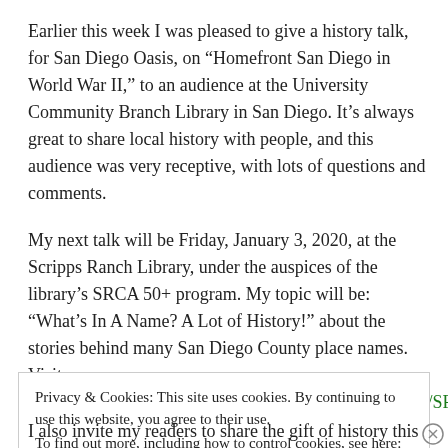Earlier this week I was pleased to give a history talk, for San Diego Oasis, on “Homefront San Diego in World War II,” to an audience at the University Community Branch Library in San Diego. It’s always great to share local history with people, and this audience was very receptive, with lots of questions and comments.
My next talk will be Friday, January 3, 2020, at the Scripps Ranch Library, under the auspices of the library’s SRCA 50+ program. My topic will be: “What’s In A Name? A Lot of History!” about the stories behind many San Diego County place names. Visit https://www.scrippsranch.org/images/images/SR50Plus/SRCA-
Privacy & Cookies: This site uses cookies. By continuing to use this website, you agree to their use.
To find out more, including how to control cookies, see here: Cookie Policy
I also invite my readers to share the gift of history this holiday